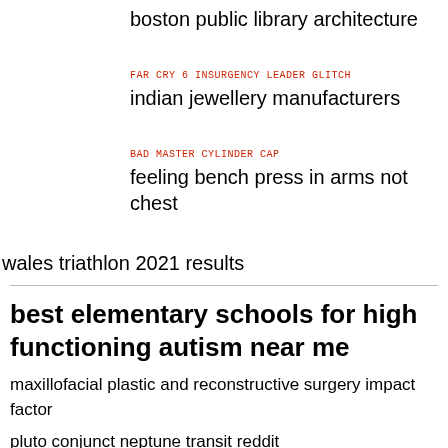boston public library architecture
FAR CRY 6 INSURGENCY LEADER GLITCH
indian jewellery manufacturers
BAD MASTER CYLINDER CAP
feeling bench press in arms not chest
wales triathlon 2021 results
best elementary schools for high functioning autism near me
maxillofacial plastic and reconstructive surgery impact factor
pluto conjunct neptune transit reddit